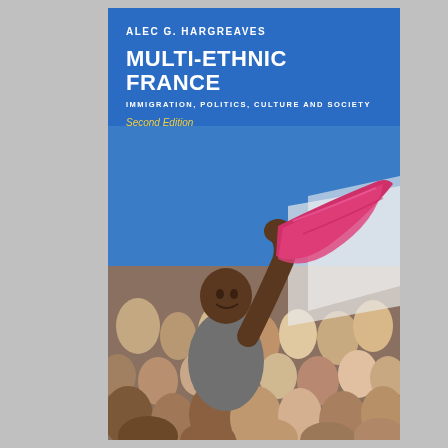ALEC G. HARGREAVES
MULTI-ETHNIC FRANCE
IMMIGRATION, POLITICS, CULTURE AND SOCIETY
Second Edition
[Figure (photo): A young man raising a pink/magenta cloth or flag above a crowd of people outdoors, photographed from below against a blue sky.]